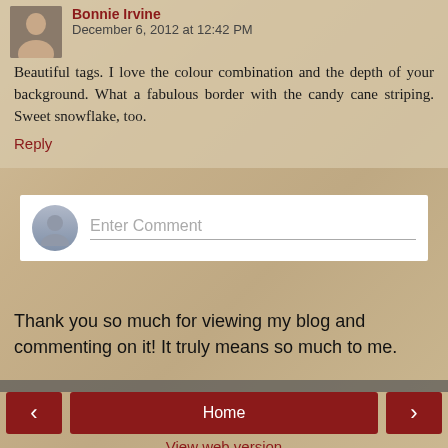Bonnie Irvine December 6, 2012 at 12:42 PM
Beautiful tags. I love the colour combination and the depth of your background. What a fabulous border with the candy cane striping. Sweet snowflake, too.
Reply
[Figure (other): Enter Comment input box with user avatar icon]
Thank you so much for viewing my blog and commenting on it! It truly means so much to me.
[Figure (other): Navigation buttons: left arrow, Home, right arrow]
View web version